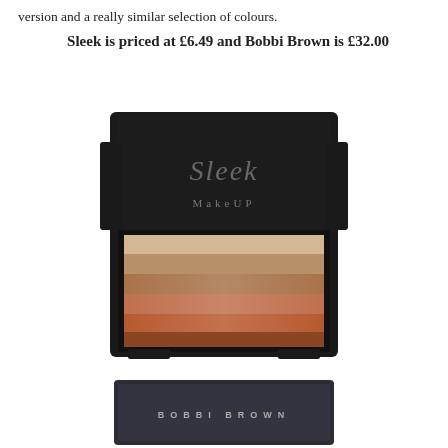version and a really similar selection of colours.
Sleek is priced at £6.49 and Bobbi Brown is £32.00
[Figure (photo): Sleek makeup bronzer palette compact with black lid showing brand logo, open to reveal striped bronzer shades ranging from light beige to deep copper-brown]
[Figure (photo): Bottom portion of Bobbi Brown makeup compact with dark grey lid showing 'BOBBI BROWN' text in spaced letters]